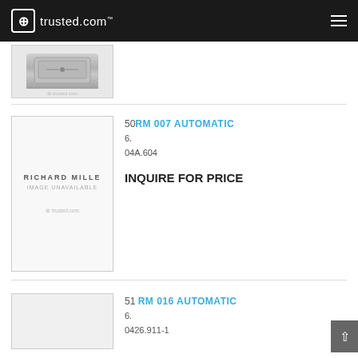trusted.com
[Figure (photo): Partial watch image at top, cropped]
50 RM 007 AUTOMATIC
6.
04A.604
INQUIRE FOR PRICE
[Figure (illustration): Richard Mille image unavailable placeholder]
51 RM 016 AUTOMATIC
6.
0426.911-1